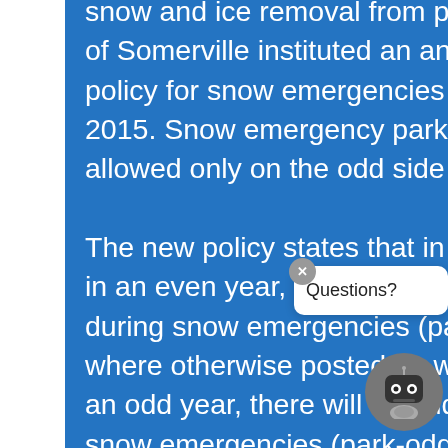snow and ice removal from plowing operations, the City of Somerville instituted an annually alternating parking policy for snow emergencies beginning in calendar year 2015. Snow emergency parking had previously been allowed only on the odd side of the street. The new policy states that in winter seasons that begin in an even year, there will be even-side-only parking during snow emergencies (park-even season), except where otherwise posted. In winter seasons that begin in an odd year, there will be odd-side-only parking during snow emergencies (park-odd season), except where otherwise posted. The intent of this policy is to equitably distribute the
[Figure (other): Chat assistant widget with 'Questions?' bubble and bot icon, with close button (x)]